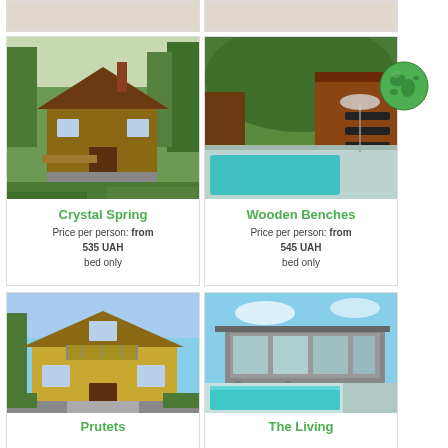[Figure (photo): Partial top card left - cut off]
[Figure (photo): Partial top card right - cut off]
[Figure (photo): Crystal Spring - wooden chalet surrounded by forest trees]
Crystal Spring
Price per person: from 535 UAH
bed only
[Figure (photo): Wooden Benches - resort with outdoor pool and lounge chairs, forest mountain background]
Wooden Benches
Price per person: from 545 UAH
bed only
[Figure (illustration): Globe icon - green world map icon]
[Figure (photo): Prutets - yellow stucco house with balcony]
Prutets
[Figure (photo): The Living - modern building with outdoor pool]
The Living